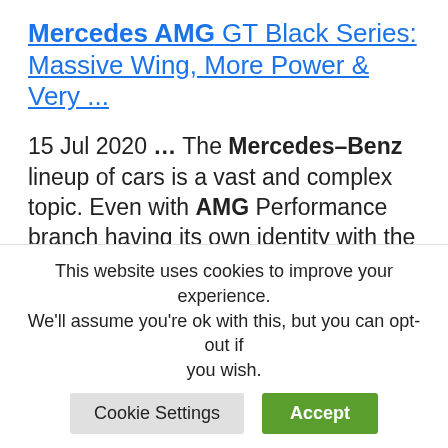Mercedes AMG GT Black Series: Massive Wing, More Power & Very ...
15 Jul 2020 ... The Mercedes–Benz lineup of cars is a vast and complex topic. Even with AMG Performance branch having its own identity with the GT model ...
Mercedes–Benz C43 AMG Estate : fun on a daily basis!?
31 Aug 2019 ... SUV are too common
This website uses cookies to improve your experience. We'll assume you're ok with this, but you can opt-out if you wish.